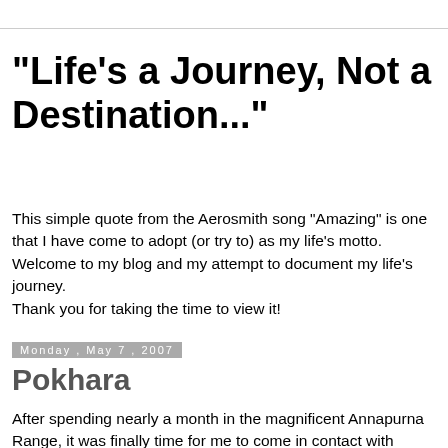"Life's a Journey, Not a Destination..."
This simple quote from the Aerosmith song "Amazing" is one that I have come to adopt (or try to) as my life's motto. Welcome to my blog and my attempt to document my life's journey.
Thank you for taking the time to view it!
Monday, May 7, 2007
Pokhara
After spending nearly a month in the magnificent Annapurna Range, it was finally time for me to come in contact with civilization again...